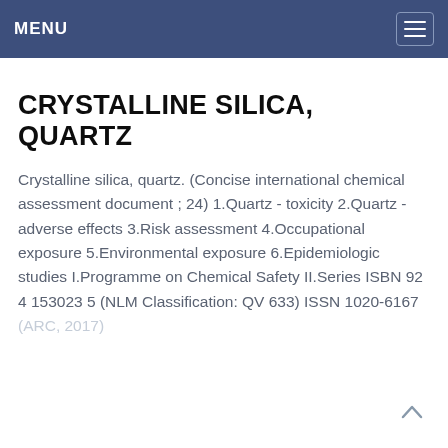MENU
CRYSTALLINE SILICA, QUARTZ
Crystalline silica, quartz. (Concise international chemical assessment document ; 24) 1.Quartz - toxicity 2.Quartz - adverse effects 3.Risk assessment 4.Occupational exposure 5.Environmental exposure 6.Epidemiologic studies I.Programme on Chemical Safety II.Series ISBN 92 4 153023 5 (NLM Classification: QV 633) ISSN 1020-6167 (ARC, 2017)